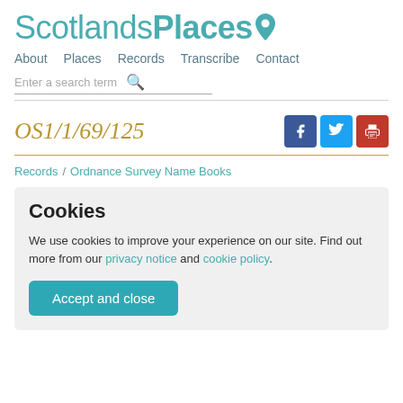ScotlandsPlaces
About  Places  Records  Transcribe  Contact
Enter a search term
OS1/1/69/125
Records / Ordnance Survey Name Books
Cookies
We use cookies to improve your experience on our site. Find out more from our privacy notice and cookie policy.
Accept and close